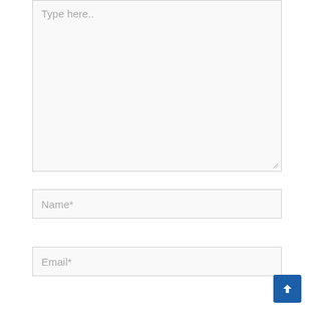[Figure (screenshot): A large textarea input box with placeholder text 'Type here..' and a resize handle at the bottom right corner.]
Name*
Email*